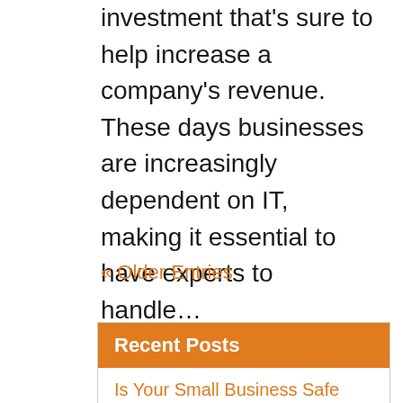investment that's sure to help increase a company's revenue. These days businesses are increasingly dependent on IT, making it essential to have experts to handle…
« Older Entries
Recent Posts
Is Your Small Business Safe from Cyberattacks?
Types of Data Backups: What You